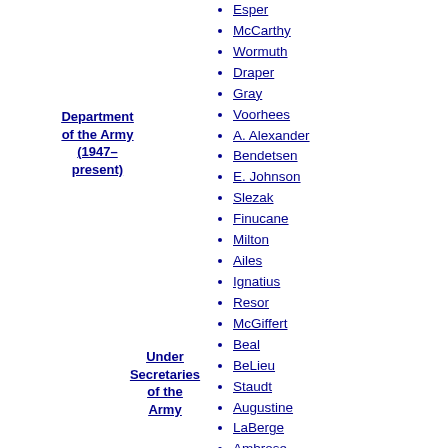Department of the Army (1947–present)
Esper
McCarthy
Wormuth
Draper
Gray
Voorhees
A. Alexander
Bendetsen
E. Johnson
Slezak
Finucane
Milton
Ailes
Ignatius
Resor
McGiffert
Beal
BeLieu
Staudt
Augustine
LaBerge
Ambrose
Stone
Shannon
Under Secretaries of the Army